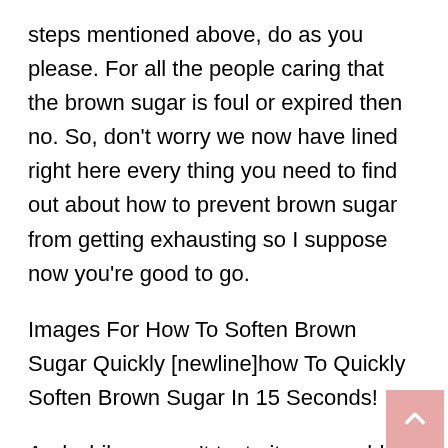steps mentioned above, do as you please. For all the people caring that the brown sugar is foul or expired then no. So, don't worry we now have lined right here every thing you need to find out about how to prevent brown sugar from getting exhausting so I suppose now you're good to go.
Images For How To Soften Brown Sugar Quickly [newline]how To Quickly Soften Brown Sugar In 15 Seconds!
And while we can't taste it, we would love to see the means it turned out! You can connect with us on Facebook or Instagram and tag your image with #organicfactsrecipes. To retain highest quality, the product must be saved under correct situations. Sugar